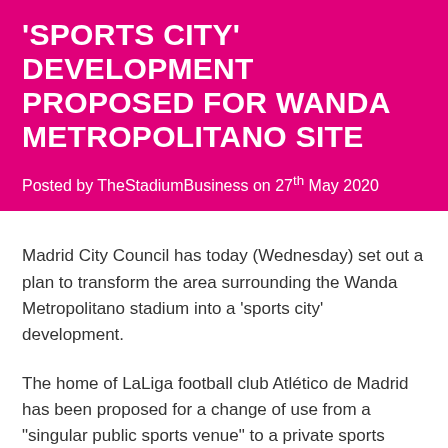'SPORTS CITY' DEVELOPMENT PROPOSED FOR WANDA METROPOLITANO SITE
Posted by TheStadiumBusiness on 27th May 2020
Madrid City Council has today (Wednesday) set out a plan to transform the area surrounding the Wanda Metropolitano stadium into a ‘sports city’ development.
The home of LaLiga football club Atlético de Madrid has been proposed for a change of use from a “singular public sports venue” to a private sports venue. The 67,000-seat Wanda